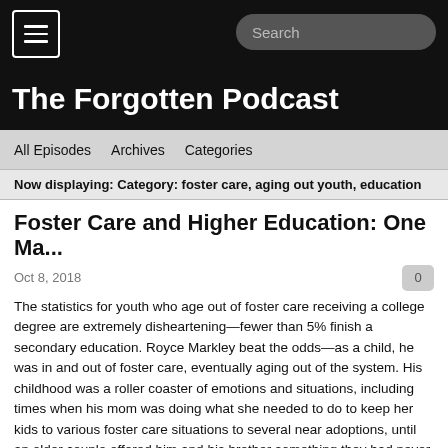The Forgotten Podcast
All Episodes   Archives   Categories
Now displaying: Category: foster care, aging out youth, education
Foster Care and Higher Education: One Ma...
Oct 8, 2018
The statistics for youth who age out of foster care receiving a college degree are extremely disheartening—fewer than 5% finish a secondary education. Royce Markley beat the odds—as a child, he was in and out of foster care, eventually aging out of the system. His childhood was a roller coaster of emotions and situations, including times when his mom was doing what she needed to do to keep her kids to various foster care situations to several near adoptions, until an older couple offered him and his brother something they had never had before: stability. Royce's story of frustration and determination to accomplish his goals, get his college degree and make a